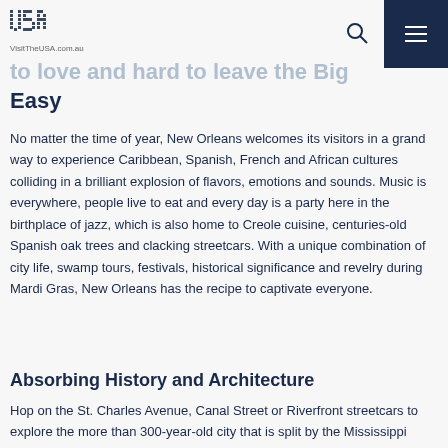VisitTheUSA.com.au
Easy to love and hard to leave the Big Easy
No matter the time of year, New Orleans welcomes its visitors in a grand way to experience Caribbean, Spanish, French and African cultures colliding in a brilliant explosion of flavors, emotions and sounds. Music is everywhere, people live to eat and every day is a party here in the birthplace of jazz, which is also home to Creole cuisine, centuries-old Spanish oak trees and clacking streetcars. With a unique combination of city life, swamp tours, festivals, historical significance and revelry during Mardi Gras, New Orleans has the recipe to captivate everyone.
Absorbing History and Architecture
Hop on the St. Charles Avenue, Canal Street or Riverfront streetcars to explore the more than 300-year-old city that is split by the Mississippi River and surrounded by lakes,